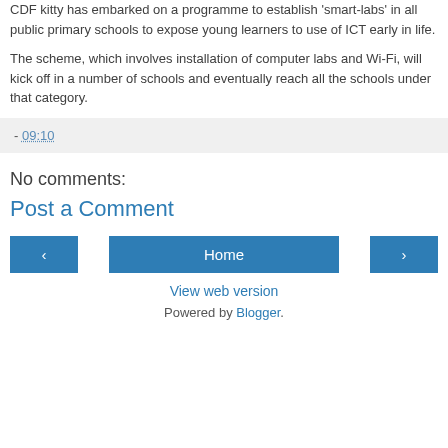CDF kitty has embarked on a programme to establish 'smart-labs' in all public primary schools to expose young learners to use of ICT early in life.
The scheme, which involves installation of computer labs and Wi-Fi, will kick off in a number of schools and eventually reach all the schools under that category.
- 09:10
No comments:
Post a Comment
‹  Home  ›
View web version
Powered by Blogger.